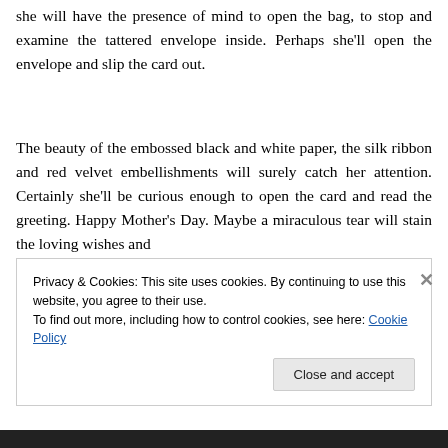she will have the presence of mind to open the bag, to stop and examine the tattered envelope inside. Perhaps she'll open the envelope and slip the card out.
The beauty of the embossed black and white paper, the silk ribbon and red velvet embellishments will surely catch her attention. Certainly she'll be curious enough to open the card and read the greeting. Happy Mother's Day. Maybe a miraculous tear will stain the loving wishes and
Privacy & Cookies: This site uses cookies. By continuing to use this website, you agree to their use.
To find out more, including how to control cookies, see here: Cookie Policy